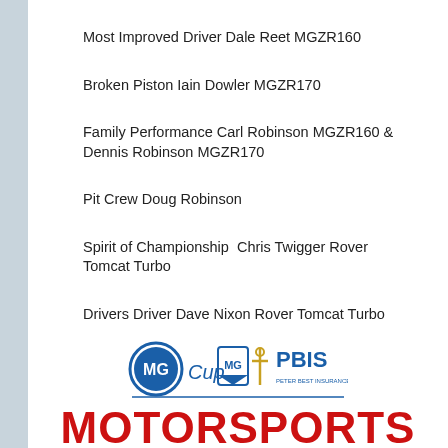Most Improved Driver Dale Reet MGZR160
Broken Piston Iain Dowler MGZR170
Family Performance Carl Robinson MGZR160 & Dennis Robinson MGZR170
Pit Crew Doug Robinson
Spirit of Championship  Chris Twigger Rover Tomcat Turbo
Drivers Driver Dave Nixon Rover Tomcat Turbo
[Figure (logo): MG Cup logo with MG shield, 'Cup' text, MG badge, and PBIS (Peter Best Insurance) logo with anchor cross]
MOTORSPORTS